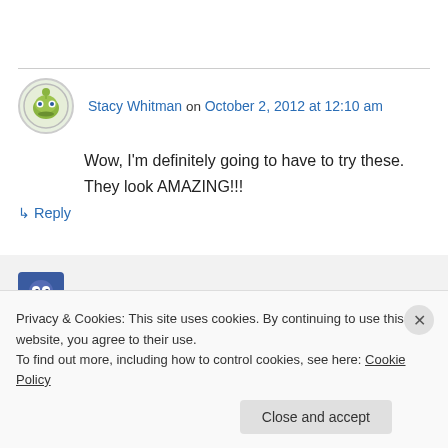Stacy Whitman on October 2, 2012 at 12:10 am
Wow, I'm definitely going to have to try these. They look AMAZING!!!
↳ Reply
Natalia at Hot, Cheap & Easy on October 2,
Privacy & Cookies: This site uses cookies. By continuing to use this website, you agree to their use.
To find out more, including how to control cookies, see here: Cookie Policy
Close and accept